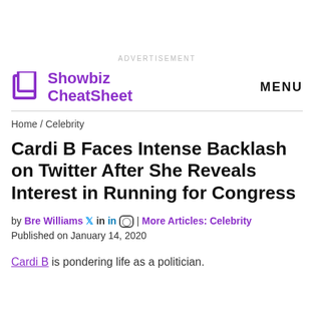ADVERTISEMENT
Showbiz CheatSheet MENU
Home / Celebrity
Cardi B Faces Intense Backlash on Twitter After She Reveals Interest in Running for Congress
by Bre Williams [Twitter] in [LinkedIn] [Instagram] | More Articles: Celebrity
Published on January 14, 2020
Cardi B is pondering life as a politician.